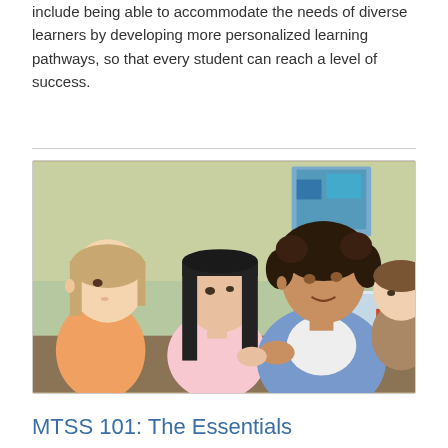include being able to accommodate the needs of diverse learners by developing more personalized learning pathways, so that every student can reach a level of success.
[Figure (photo): A teacher with curly hair leans over to assist two young female students working on a laptop in a classroom. A boy is visible in the background also working.]
MTSS 101: The Essentials